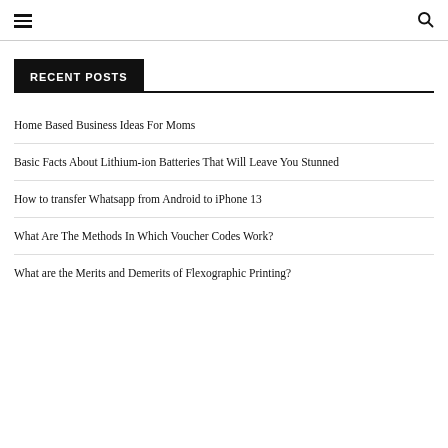Navigation header with hamburger menu and search icon
RECENT POSTS
Home Based Business Ideas For Moms
Basic Facts About Lithium-ion Batteries That Will Leave You Stunned
How to transfer Whatsapp from Android to iPhone 13
What Are The Methods In Which Voucher Codes Work?
What are the Merits and Demerits of Flexographic Printing?